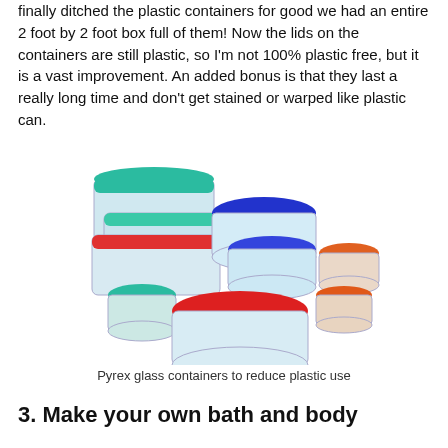finally ditched the plastic containers for good we had an entire 2 foot by 2 foot box full of them! Now the lids on the containers are still plastic, so I'm not 100% plastic free, but it is a vast improvement. An added bonus is that they last a really long time and don't get stained or warped like plastic can.
[Figure (photo): A set of Pyrex glass food storage containers with colorful plastic lids (teal, red, blue, orange) of various sizes, including rectangular and round containers.]
Pyrex glass containers to reduce plastic use
3. Make your own bath and body